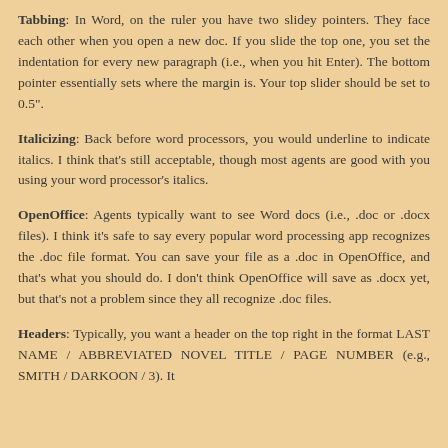Tabbing: In Word, on the ruler you have two slidey pointers. They face each other when you open a new doc. If you slide the top one, you set the indentation for every new paragraph (i.e., when you hit Enter). The bottom pointer essentially sets where the margin is. Your top slider should be set to 0.5".
Italicizing: Back before word processors, you would underline to indicate italics. I think that's still acceptable, though most agents are good with you using your word processor's italics.
OpenOffice: Agents typically want to see Word docs (i.e., .doc or .docx files). I think it's safe to say every popular word processing app recognizes the .doc file format. You can save your file as a .doc in OpenOffice, and that's what you should do. I don't think OpenOffice will save as .docx yet, but that's not a problem since they all recognize .doc files.
Headers: Typically, you want a header on the top right in the format LAST NAME / ABBREVIATED NOVEL TITLE / PAGE NUMBER (e.g., SMITH / DARKOON / 3). It...